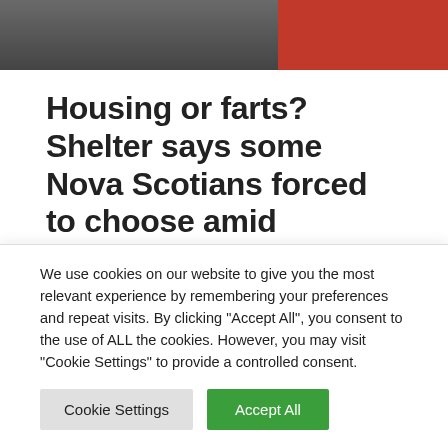[Figure (photo): Photo strip at top showing an animal (cat/dog) on left dark background and a person in red on right]
Housing or farts? Shelter says some Nova Scotians forced to choose amid housing crisis
Leave a Comment / Pets / By admin
The founder of a small animal shelter says she's seeing more abandoned and surrendered animals as Nova Scotia's ongoing
We use cookies on our website to give you the most relevant experience by remembering your preferences and repeat visits. By clicking "Accept All", you consent to the use of ALL the cookies. However, you may visit "Cookie Settings" to provide a controlled consent.